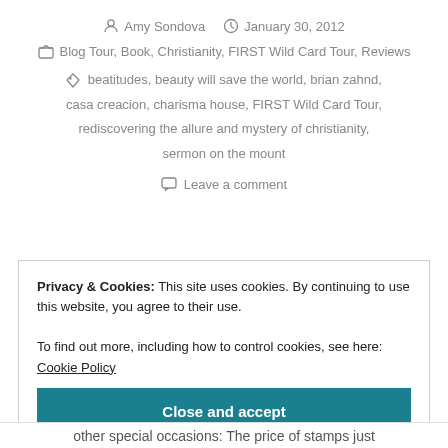Amy Sondova   January 30, 2012
Blog Tour, Book, Christianity, FIRST Wild Card Tour, Reviews
beatitudes, beauty will save the world, brian zahnd, casa creacion, charisma house, FIRST Wild Card Tour, rediscovering the allure and mystery of christianity, sermon on the mount
Leave a comment
Privacy & Cookies: This site uses cookies. By continuing to use this website, you agree to their use.
To find out more, including how to control cookies, see here: Cookie Policy
Close and accept
other special occasions: The price of stamps just